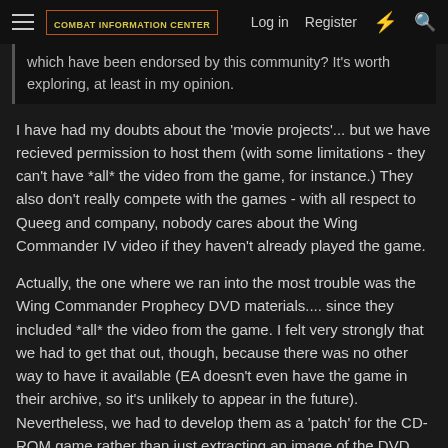COMBAT INFORMATION CENTER  Log in  Register
which have been endorsed by this community? It's worth exploring, at least in my opinion.
I have had my doubts about the 'movie projects'... but we have recieved permission to host them (with some limitations - they can't have *all* the video from the game, for instance.) They also don't really compete with the games - with all respect to Queeg and company, nobody cares about the Wing Commander IV video if they haven't already played the game.
Actually, the one where we ran into the most trouble was the Wing Commander Prophecy DVD materials.... since they included *all* the video from the game. I felt very strongly that we had to get that out, though, because there was no other way to have it available (EA doesn't even have the game in their archive, so it's unlikely to appear in the future). Nevertheless, we had to develop them as a 'patch' for the CD-ROM game rather than just extracting an image of the DVD.